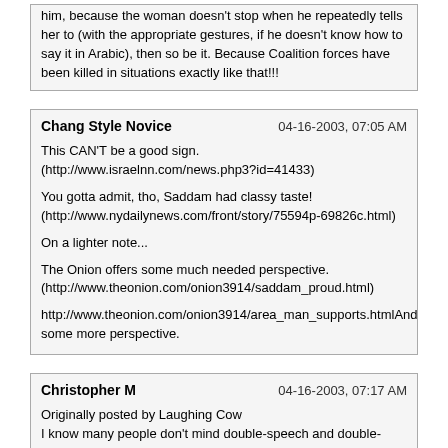him, because the woman doesn't stop when he repeatedly tells her to (with the appropriate gestures, if he doesn't know how to say it in Arabic), then so be it. Because Coalition forces have been killed in situations exactly like that!!!
Chang Style Novice | 04-16-2003, 07:05 AM
This CAN'T be a good sign. (http://www.israelnn.com/news.php3?id=41433)

You gotta admit, tho, Saddam had classy taste! (http://www.nydailynews.com/front/story/75594p-69826c.html)

On a lighter note...

The Onion offers some much needed perspective. (http://www.theonion.com/onion3914/saddam_proud.html)

http://www.theonion.com/onion3914/area_man_supports.htmlAnd some more perspective.
Christopher M | 04-16-2003, 07:17 AM
Originally posted by Laughing Cow
I know many people don't mind double-speech and double-standard, but where I grew up the rules were hard and fast and equally applied to anybody.

Right. Which is why I was confused by your sudden change of stance. Still am.
ewallace | 04-16-2003, 09:21 AM
Do you happen to know the number of Iraqi civilians killed during the rule of the Baath party?
@PLUGO | 04-16-2003, 09:50 AM